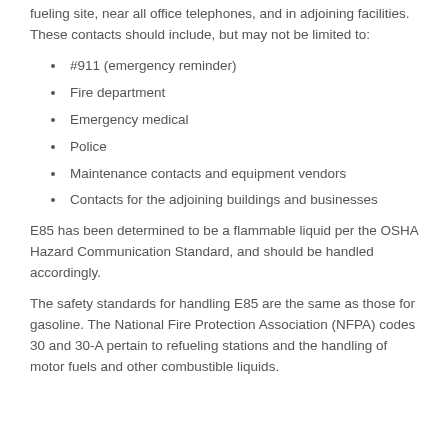fueling site, near all office telephones, and in adjoining facilities. These contacts should include, but may not be limited to:
#911 (emergency reminder)
Fire department
Emergency medical
Police
Maintenance contacts and equipment vendors
Contacts for the adjoining buildings and businesses
E85 has been determined to be a flammable liquid per the OSHA Hazard Communication Standard, and should be handled accordingly.
The safety standards for handling E85 are the same as those for gasoline. The National Fire Protection Association (NFPA) codes 30 and 30-A pertain to refueling stations and the handling of motor fuels and other combustible liquids.